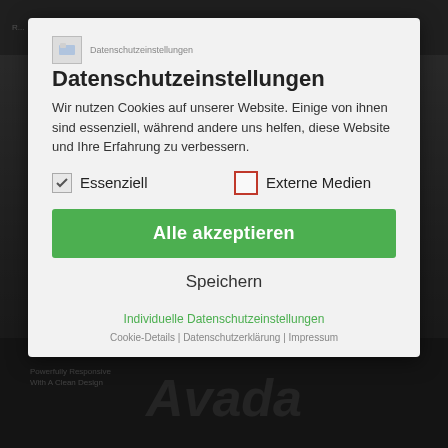[Figure (screenshot): Cookie consent modal dialog overlay on a website. Background shows a dark-tinted website with the Ralf Birmele Meisterbetrieb company website and Avada theme. The modal is a white/light gray dialog box with title 'Datenschutzeinstellungen', descriptive text about cookies, two checkboxes for 'Essenziell' (checked) and 'Externe Medien' (unchecked with red border), a green 'Alle akzeptieren' button, a 'Speichern' button, and footer links including 'Individuelle Datenschutzeinstellungen', 'Cookie-Details', 'Datenschutzerklärung', and 'Impressum'.]
Datenschutzeinstellungen
Wir nutzen Cookies auf unserer Website. Einige von ihnen sind essenziell, während andere uns helfen, diese Website und Ihre Erfahrung zu verbessern.
Essenziell
Externe Medien
Alle akzeptieren
Speichern
Individuelle Datenschutzeinstellungen
Cookie-Details | Datenschutzerklärung | Impressum